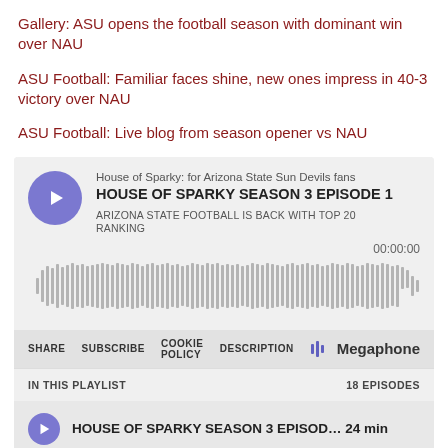Gallery: ASU opens the football season with dominant win over NAU
ASU Football: Familiar faces shine, new ones impress in 40-3 victory over NAU
ASU Football: Live blog from season opener vs NAU
[Figure (other): Podcast embed player for 'House of Sparky: for Arizona State Sun Devils fans' — HOUSE OF SPARKY SEASON 3 EPISODE 1 — ARIZONA STATE FOOTBALL IS BACK WITH TOP 20 RANKING. Shows audio waveform, time 00:00:00, controls: SHARE, SUBSCRIBE, COOKIE POLICY, DESCRIPTION, Megaphone logo. Playlist: IN THIS PLAYLIST / 18 EPISODES. Episode row: HOUSE OF SPARKY SEASON 3 EPISOD... 24 min.]